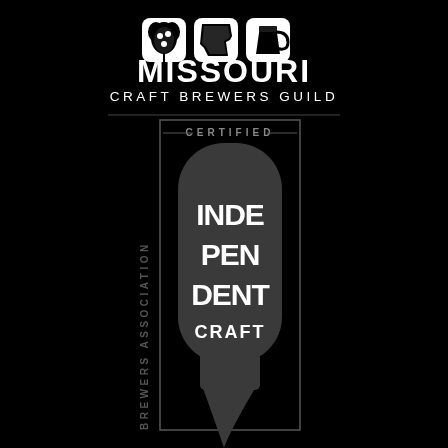[Figure (logo): Missouri Craft Brewers Guild logo with icons of a hop, state of Missouri, and a beer glass above the text MISSOURI CRAFT BREWERS GUILD in white on black background, followed by a Brewers Association Certified Independent Craft seal featuring a beer bottle silhouette shape with INDEPENDENT CRAFT text and vertical BREWERS ASSOCIATION text on the side]